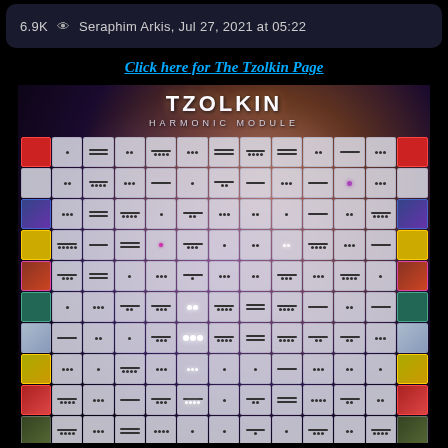6.9K 👁 Seraphim Arkis, Jul 27, 2021 at 05:22
Click here for The Tzolkin Page
[Figure (infographic): Tzolkin Harmonic Module grid - a colorful calendar/module chart with 13 columns and 20 rows of cells containing dots and bars arranged in a grid pattern, set against a cosmic nebula background with purple/blue glowing center]